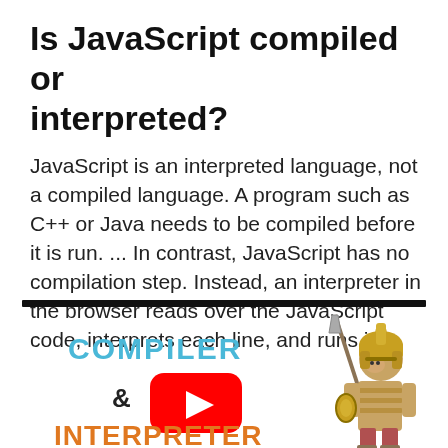Is JavaScript compiled or interpreted?
JavaScript is an interpreted language, not a compiled language. A program such as C++ or Java needs to be compiled before it is run. ... In contrast, JavaScript has no compilation step. Instead, an interpreter in the browser reads over the JavaScript code, interprets each line, and runs it.
[Figure (illustration): Illustration with 'COMPILER' in blue text, an ampersand, a YouTube play button in red, 'INTERPRETER' in orange text, and a cartoon Spartan warrior holding a spear on the right side.]